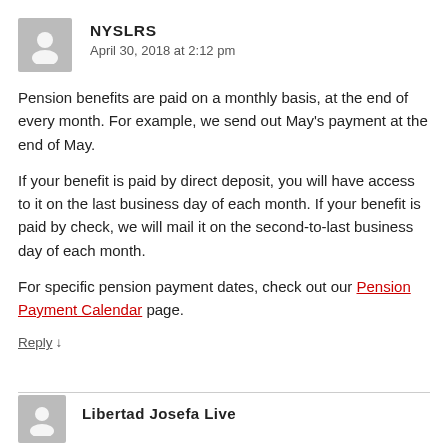NYSLRS
April 30, 2018 at 2:12 pm
Pension benefits are paid on a monthly basis, at the end of every month. For example, we send out May's payment at the end of May.
If your benefit is paid by direct deposit, you will have access to it on the last business day of each month. If your benefit is paid by check, we will mail it on the second-to-last business day of each month.
For specific pension payment dates, check out our Pension Payment Calendar page.
Reply ↓
Libertad Josefa Live